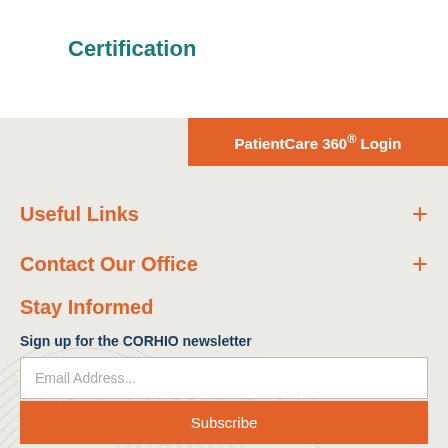Certification
PatientCare 360® Login
Useful Links
Contact Our Office
Stay Informed
Sign up for the CORHIO newsletter
Email Address...
Subscribe